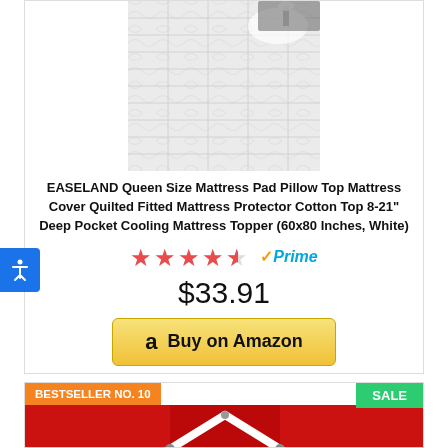[Figure (photo): White quilted mattress pad/topper product photo on bed]
EASELAND Queen Size Mattress Pad Pillow Top Mattress Cover Quilted Fitted Mattress Protector Cotton Top 8-21" Deep Pocket Cooling Mattress Topper (60x80 Inches, White)
[Figure (other): 4.5 star rating with Amazon Prime badge]
$33.91
[Figure (other): Buy on Amazon button]
BESTSELLER NO. 10
SALE
[Figure (photo): Red bed sheet with white elastic sheet straps/clips product photo]